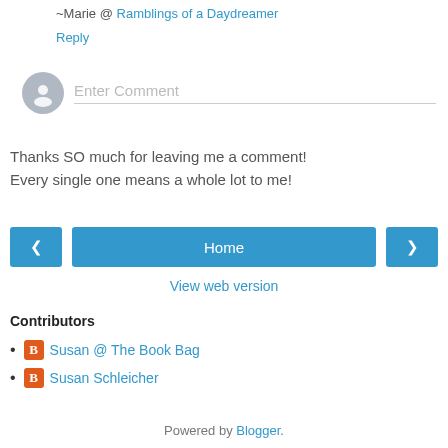~Marie @ Ramblings of a Daydreamer
Reply
[Figure (other): Comment input area with user avatar and placeholder text 'Enter Comment']
Thanks SO much for leaving me a comment! Every single one means a whole lot to me!
< Home >
View web version
Contributors
Susan @ The Book Bag
Susan Schleicher
Powered by Blogger.